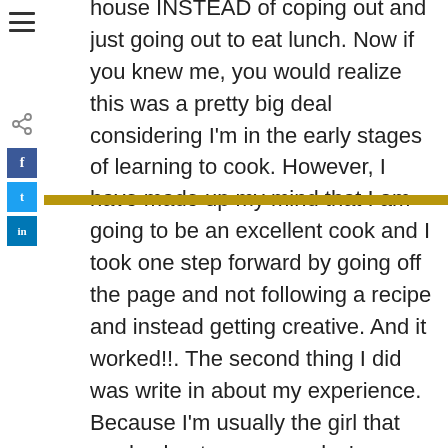[Figure (other): Left sidebar with hamburger menu icon, share icon, Facebook button, Twitter button, and LinkedIn button, plus a horizontal gold/tan bar accent]
house INSTEAD of coping out and just going out to eat lunch. Now if you knew me, you would realize this was a pretty big deal considering I'm in the early stages of learning to cook. However, I have made up my mind that I am going to be an excellent cook and I took one step forward by going off the page and not following a recipe and instead getting creative. And it worked!!. The second thing I did was write in about my experience. Because I'm usually the girl that reads about everyone else's breakthroughs but for whatever reason never get around to writing my own!! So thank you for giving me a place to express today's small but significant